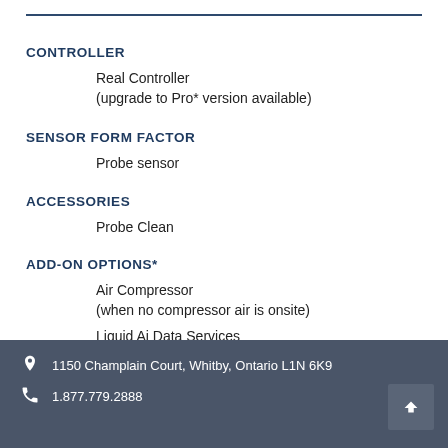CONTROLLER
Real Controller
(upgrade to Pro* version available)
SENSOR FORM FACTOR
Probe sensor
ACCESSORIES
Probe Clean
ADD-ON OPTIONS*
Air Compressor
(when no compressor air is onsite)
Liquid Ai Data Services
1150 Champlain Court, Whitby, Ontario L1N 6K9
1.877.779.2888